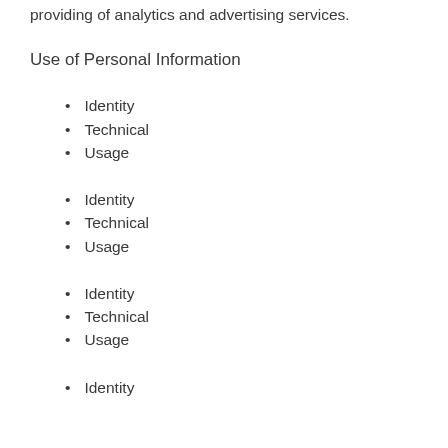providing of analytics and advertising services.
Use of Personal Information
Identity
Technical
Usage
Identity
Technical
Usage
Identity
Technical
Usage
Identity